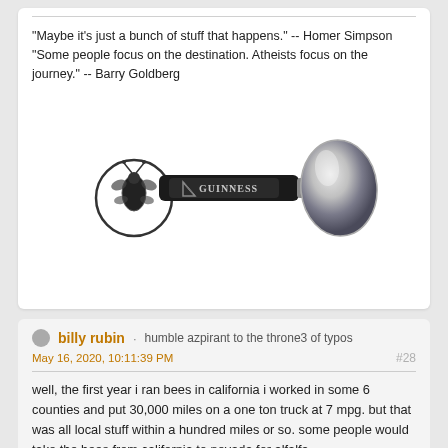"Maybe it's just a bunch of stuff that happens." -- Homer Simpson
"Some people focus on the destination. Atheists focus on the journey." -- Barry Goldberg
[Figure (photo): A Guinness branded spoon with the Guinness harp logo on the handle, and a decorative bee/insect ornament attached to the handle.]
billy rubin · humble azpirant to the throne3 of typos
May 16, 2020, 10:11:39 PM
#28
well, the first year i ran bees in california i worked in some 6 counties and put 30,000 miles on a one ton truck at 7 mpg. but that was all local stuff within a hundred miles or so. some people would take the bees from california to nevada for alfalfa.

one of of my neighbors went back and froth from california to north dakota, and i had friends who went back and forth between